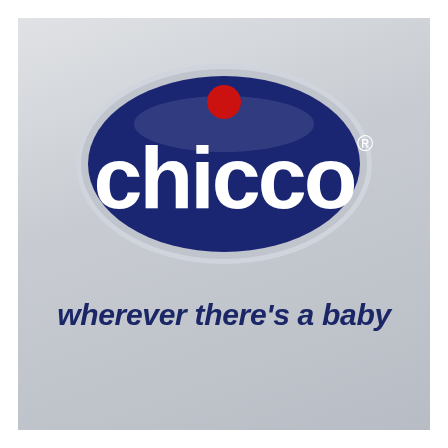[Figure (logo): Chicco brand logo: a dark navy blue oval/shield shape with a silver/white border, containing the word 'chicco' in large white bold lowercase letters with a red circle dot above the letter 'i', and the registered trademark symbol. Below the logo oval, the tagline 'wherever there's a baby' in dark navy bold italic text on a grey gradient background.]